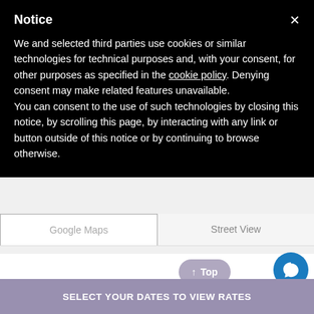Notice
We and selected third parties use cookies or similar technologies for technical purposes and, with your consent, for other purposes as specified in the cookie policy. Denying consent may make related features unavailable.
You can consent to the use of such technologies by closing this notice, by scrolling this page, by interacting with any link or button outside of this notice or by continuing to browse otherwise.
[Figure (screenshot): Tab bar with 'Google Maps' (active/selected) and 'Street View' tabs]
General
Check-in: From 15:00    Check-out: Until 12:00
SELECT YOUR DATES TO VIEW RATES